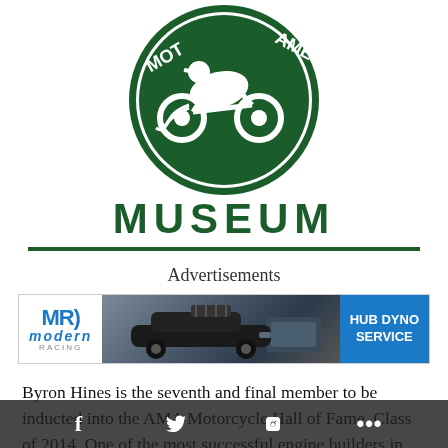[Figure (logo): AMA Motorcycle Hall of Fame Museum green circular logo with motorcycle rider silhouette and the word MUSEUM in large green letters beneath, with a green horizontal rule]
Advertisements
[Figure (photo): Modern Racing Hub Dyno Service advertisement banner with MR Modern Racing logo on left, race car on dyno in center, and HUB DYNO SERVICE text in blue on right]
Byron Hines is the seventh and final member to be inducted into the AMA Motorcycle Hall of Fame, Class of 2014. One of the most successful engine builders in motorcycle racing, Hines earned national drag-racing titles and co-founded the tremendously successful Vance & Hines aftermarket company alongside racer and
f  🐦  🔗  •••